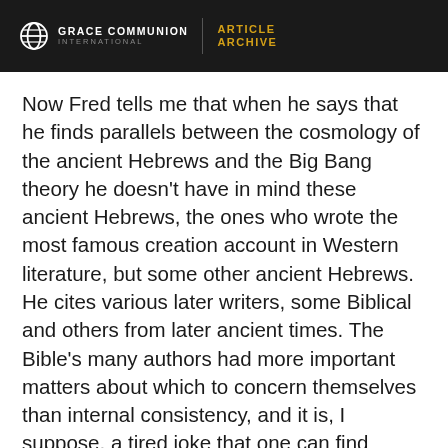GRACE COMMUNION INTERNATIONAL | ARTICLE ARCHIVE
Now Fred tells me that when he says that he finds parallels between the cosmology of the ancient Hebrews and the Big Bang theory he doesn't have in mind these ancient Hebrews, the ones who wrote the most famous creation account in Western literature, but some other ancient Hebrews. He cites various later writers, some Biblical and others from later ancient times. The Bible's many authors had more important matters about which to concern themselves than internal consistency, and it is, I suppose, a tired joke that one can find statements on both sides of every question in the Bible. Nor do I suppose that when